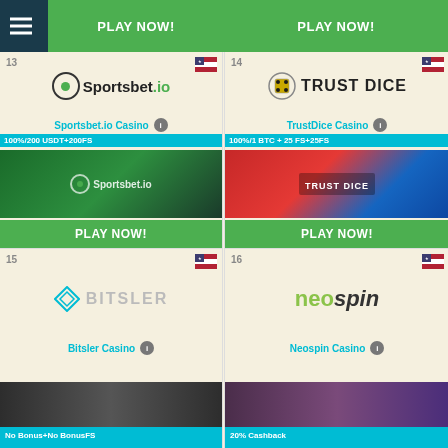[Figure (screenshot): Casino listing page showing entries 13-16: Sportsbet.io, TrustDice, Bitsler, and Neospin casinos with PLAY NOW buttons, logos, bonus offers]
PLAY NOW!
PLAY NOW!
13 Sportsbet.io Casino 100%/200 USDT+200FS PLAY NOW!
14 TrustDice Casino 100%/1 BTC + 25 FS+25FS PLAY NOW!
15 Bitsler Casino No Bonus+No BonusFS
16 Neospin Casino 20% Cashback